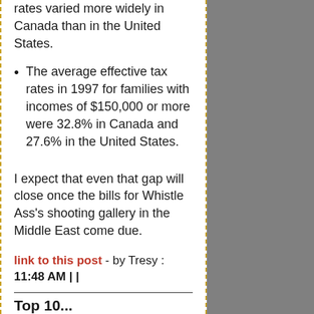rates varied more widely in Canada than in the United States.
The average effective tax rates in 1997 for families with incomes of $150,000 or more were 32.8% in Canada and 27.6% in the United States.
I expect that even that gap will close once the bills for Whistle Ass's shooting gallery in the Middle East come due.
link to this post - by Tresy : 11:48 AM | |
Top 10...